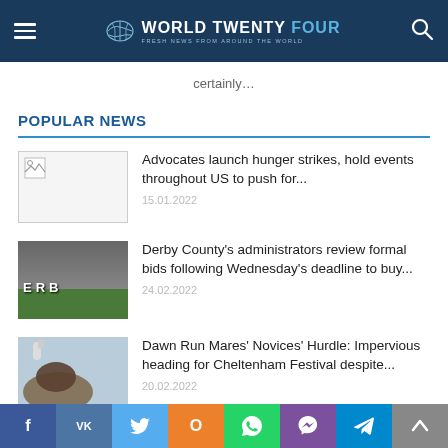WORLD TWENTY FOUR — FRESH NEWS FROM AROUND THE WORLD
certainly…
POPULAR NEWS
Advocates launch hunger strikes, hold events throughout US to push for... | 15.01.2022
Derby County's administrators review formal bids following Wednesday's deadline to buy... | 24.02.2022
Dawn Run Mares' Novices' Hurdle: Impervious heading for Cheltenham Festival despite... | 20.02.2022
f VK [twitter] O [whatsapp] [viber] [telegram] [up]